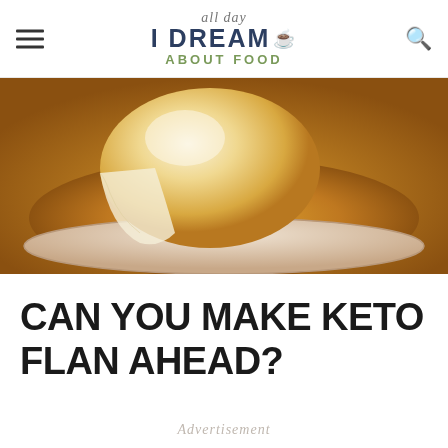all day I DREAM ABOUT FOOD
[Figure (photo): Close-up photo of a keto flan dessert on a white plate, showing the caramel sauce and pale custard texture.]
CAN YOU MAKE KETO FLAN AHEAD?
Advertisement